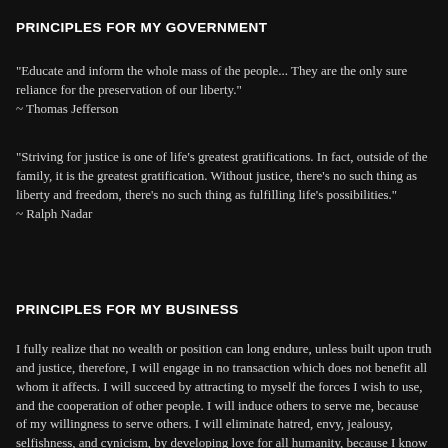PRINCIPLES FOR MY GOVERNMENT
“Educate and inform the whole mass of the people... They are the only sure reliance for the preservation of our liberty.”
~ Thomas Jefferson
“Striving for justice is one of life’s greatest gratifications. In fact, outside of the family, it is the greatest gratification. Without justice, there’s no such thing as liberty and freedom, there’s no such thing as fulfilling life’s possibilities.”
~ Ralph Nadar
PRINCIPLES FOR MY BUSINESS
I fully realize that no wealth or position can long endure, unless built upon truth and justice, therefore, I will engage in no transaction which does not benefit all whom it affects. I will succeed by attracting to myself the forces I wish to use, and the cooperation of other people. I will induce others to serve me, because of my willingness to serve others. I will eliminate hatred, envy, jealousy, selfishness, and cynicism, by developing love for all humanity, because I know that a negative attitude toward others can never bring me success. I will